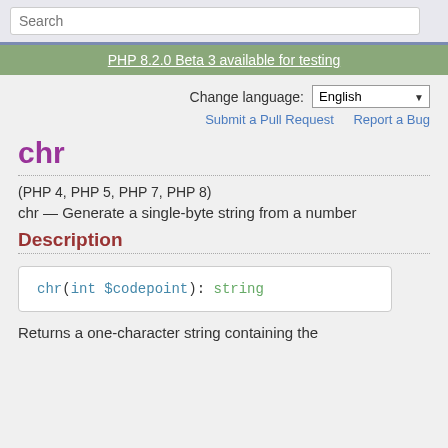Search
PHP 8.2.0 Beta 3 available for testing
Change language: English
Submit a Pull Request   Report a Bug
chr
(PHP 4, PHP 5, PHP 7, PHP 8)
chr — Generate a single-byte string from a number
Description
Returns a one-character string containing the